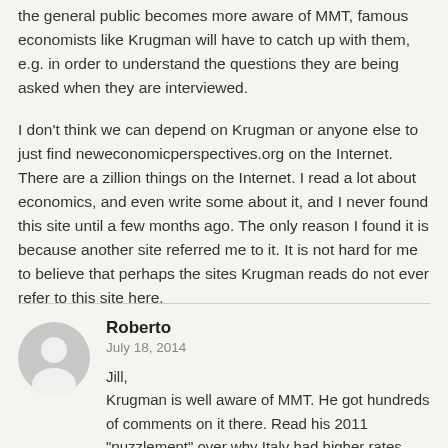the general public becomes more aware of MMT, famous economists like Krugman will have to catch up with them, e.g. in order to understand the questions they are being asked when they are interviewed.
I don't think we can depend on Krugman or anyone else to just find neweconomicperspectives.org on the Internet. There are a zillion things on the Internet. I read a lot about economics, and even write some about it, and I never found this site until a few months ago. The only reason I found it is because another site referred me to it. It is not hard for me to believe that perhaps the sites Krugman reads do not ever refer to this site here.
Roberto
July 18, 2014

Jill,
Krugman is well aware of MMT. He got hundreds of comments on it there. Read his 2011 "puzzlement" over why Italy had higher rates than Japan, some ppl simply said "read MMT, they know". He also criticized MMT a couple of times missing the point entirely. Then he lost badly a debate about endogenous money and took to ignoring MMT – too danderous, he prefers to debate clueless people.